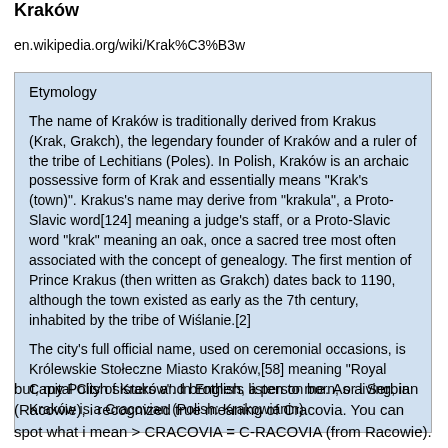Kraków
en.wikipedia.org/wiki/Krak%C3%B3w
Etymology
The name of Kraków is traditionally derived from Krakus (Krak, Grakch), the legendary founder of Kraków and a ruler of the tribe of Lechitians (Poles). In Polish, Kraków is an archaic possessive form of Krak and essentially means "Krak's (town)". Krakus's name may derive from "krakula", a Proto-Slavic word[124] meaning a judge's staff, or a Proto-Slavic word "krak" meaning an oak, once a sacred tree most often associated with the concept of genealogy. The first mention of Prince Krakus (then written as Grakch) dates back to 1190, although the town existed as early as the 7th century, inhabited by the tribe of Wiślanie.[2]
The city's full official name, used on ceremonial occasions, is Królewskie Stołeczne Miasto Kraków,[58] meaning "Royal Capital City of Kraków". In English, a person born, or living, in Kraków is a Cracovian (Polish: Krakowianin).
but, my Polish sisters and brothers listen to me. As a Serbian (Racowie), i recognized true meaning of Cracovia. You can spot what i mean > CRACOVIA = C-RACOVIA (from Racowie).